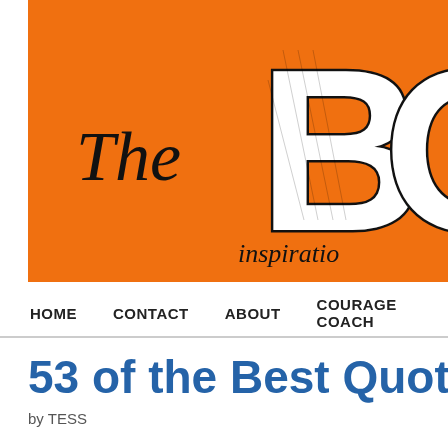[Figure (logo): Orange banner header with 'The BO' text visible (bold stylized letters B and O with hand-drawn style) on orange background, with italic text 'inspiratio' partially visible at bottom]
HOME   CONTACT   ABOUT   COURAGE COACH
53 of the Best Quotes O
by TESS